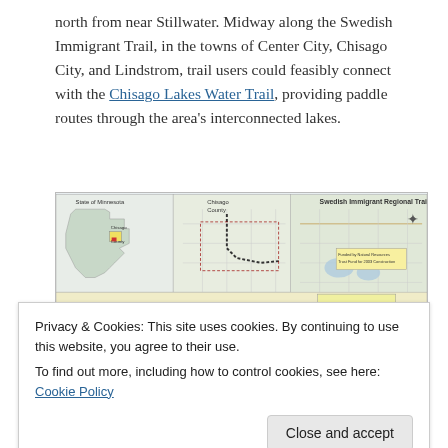north from near Stillwater. Midway along the Swedish Immigrant Trail, in the towns of Center City, Chisago City, and Lindstrom, trail users could feasibly connect with the Chisago Lakes Water Trail, providing paddle routes through the area's interconnected lakes.
[Figure (map): Swedish Immigrant Regional Trail Connections map showing State of Minnesota inset, Chisago County inset, and detailed trail map. Funded by Natural Resources Trust Fund for 2003 Construction.]
Privacy & Cookies: This site uses cookies. By continuing to use this website, you agree to their use.
To find out more, including how to control cookies, see here: Cookie Policy
Close and accept
[Figure (map): Bottom portion of a regional map showing Washington Co. area.]